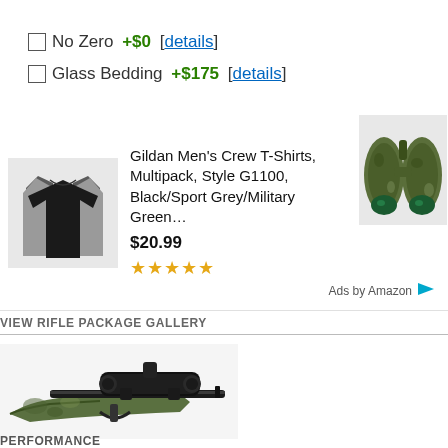☐No Zero +$0 [details]
☐Glass Bedding +$175 [details]
[Figure (photo): Gildan Men's Crew T-Shirts multipack product image]
Gildan Men's Crew T-Shirts, Multipack, Style G1100, Black/Sport Grey/Military Green…
$20.99
[Figure (photo): Binoculars product image - camo colored binoculars with green lenses]
Ads by Amazon
VIEW RIFLE PACKAGE GALLERY
[Figure (photo): Rifle with black scope mounted on green camouflage stock, displayed on white background]
PERFORMANCE